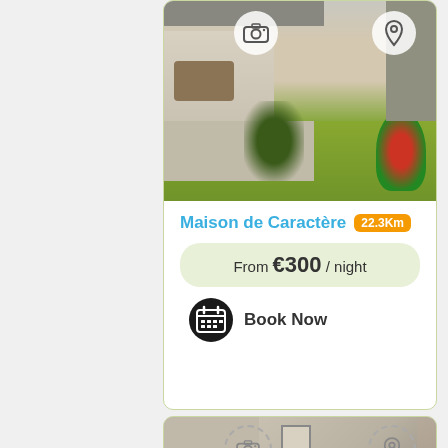[Figure (photo): Photo of a French character house exterior with garden, patio furniture, plants including a red cordyline and flowering plants on a sunny day. Camera icon and location pin icon overlay the top of the image.]
Maison de Caractère 22.3Km
From €300 / night
Book Now
[Figure (photo): Partial photo of a bedroom interior with a framed picture on the wall and what appears to be a bed with a decorative headboard. Camera icon and location pin icon overlay the top of the image.]